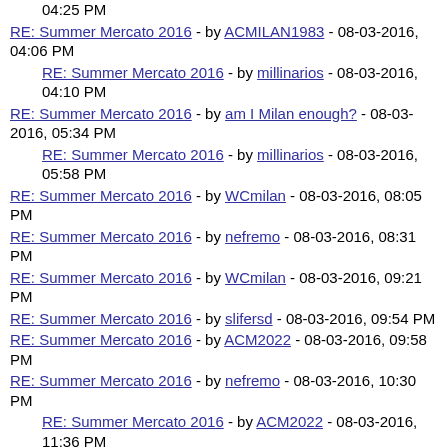04:25 PM
RE: Summer Mercato 2016 - by ACMILAN1983 - 08-03-2016, 04:06 PM
RE: Summer Mercato 2016 - by millinarios - 08-03-2016, 04:10 PM
RE: Summer Mercato 2016 - by am I Milan enough? - 08-03-2016, 05:34 PM
RE: Summer Mercato 2016 - by millinarios - 08-03-2016, 05:58 PM
RE: Summer Mercato 2016 - by WCmilan - 08-03-2016, 08:05 PM
RE: Summer Mercato 2016 - by nefremo - 08-03-2016, 08:31 PM
RE: Summer Mercato 2016 - by WCmilan - 08-03-2016, 09:21 PM
RE: Summer Mercato 2016 - by slifersd - 08-03-2016, 09:54 PM
RE: Summer Mercato 2016 - by ACM2022 - 08-03-2016, 09:58 PM
RE: Summer Mercato 2016 - by nefremo - 08-03-2016, 10:30 PM
RE: Summer Mercato 2016 - by ACM2022 - 08-03-2016, 11:36 PM
RE: Summer Mercato 2016 - by Mathias - 08-03-2016, 10:48 PM